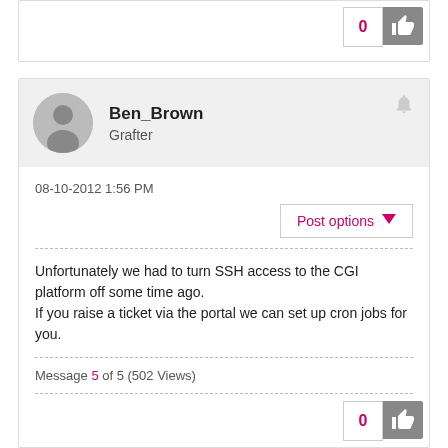[Figure (other): Like button with count 0 and thumbs up icon at top of page (partial card)]
[Figure (illustration): User avatar silhouette circle for Ben_Brown]
Ben_Brown
Grafter
08-10-2012 1:56 PM
Post options
Unfortunately we had to turn SSH access to the CGI platform off some time ago.
If you raise a ticket via the portal we can set up cron jobs for you.
Message 5 of 5 (502 Views)
[Figure (other): Like button with count 0 and thumbs up icon at bottom of page]